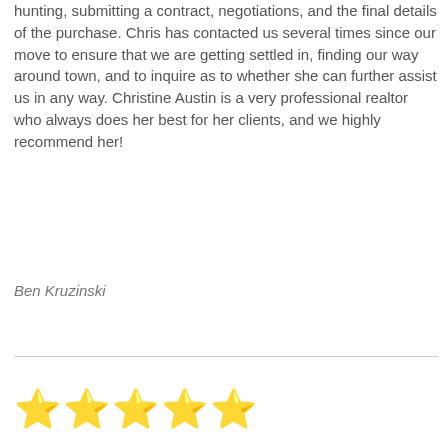hunting, submitting a contract, negotiations, and the final details of the purchase. Chris has contacted us several times since our move to ensure that we are getting settled in, finding our way around town, and to inquire as to whether she can further assist us in any way. Christine Austin is a very professional realtor who always does her best for her clients, and we highly recommend her!
Ben Kruzinski
[Figure (other): Five gold star rating icons]